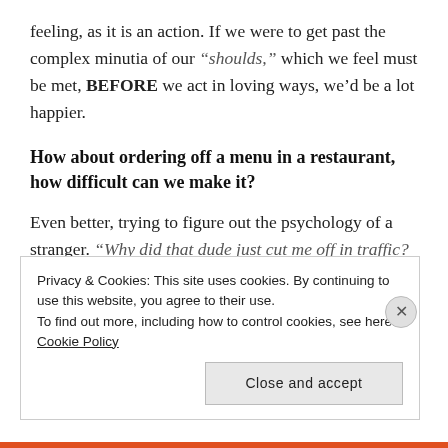feeling, as it is an action. If we were to get past the complex minutia of our “shoulds,” which we feel must be met, BEFORE we act in loving ways, we’d be a lot happier.
How about ordering off a menu in a restaurant, how difficult can we make it?
Even better, trying to figure out the psychology of a stranger. “Why did that dude just cut me off in traffic? What an asshole! If I can catch up to him, I’m gonna flip him off!” Why do we spend this time avoiding, complicating and making a BIG deal out of nothing?
Privacy & Cookies: This site uses cookies. By continuing to use this website, you agree to their use. To find out more, including how to control cookies, see here: Cookie Policy